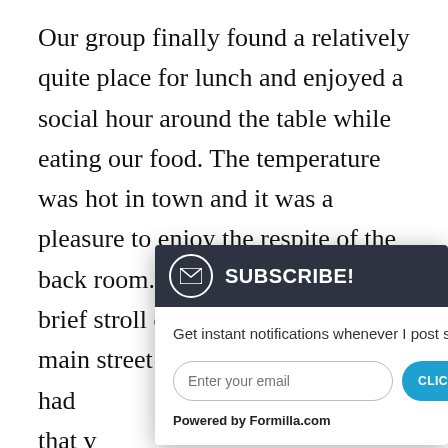Our group finally found a relatively quite place for lunch and enjoyed a social hour around the table while eating our food. The temperature was hot in town and it was a pleasure to enjoy the respite of the back room. After lunch we took a brief stroll down to the end of the main street and t had that v didn f Dodg Once out b alter taking us six miles out of our way instead of the
[Figure (screenshot): A subscription popup/modal dialog with dark header showing an envelope icon and 'SUBSCRIBE!' text, a close (×) button, body text 'Get instant notifications whenever I post something new (which isn't that often, I swear)', an email input field with placeholder 'Enter your email', a blue 'CLICKY HERE' button, and 'Powered by Formilla.com' footer text.]